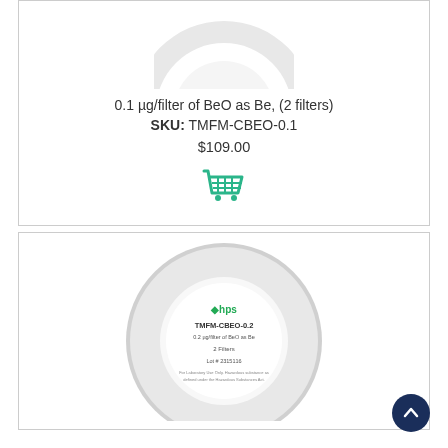[Figure (photo): Top portion of a circular filter product (white ring/disc, partially cropped at top)]
0.1 µg/filter of BeO as Be, (2 filters)
SKU: TMFM-CBEO-0.1
$109.00
[Figure (illustration): Green shopping cart icon]
[Figure (photo): Circular filter product labeled TMFM-CBEO-0.2, 0.2 µg/filter of BeO as Be, 2 filters, Lot #2315116, with HPS logo]